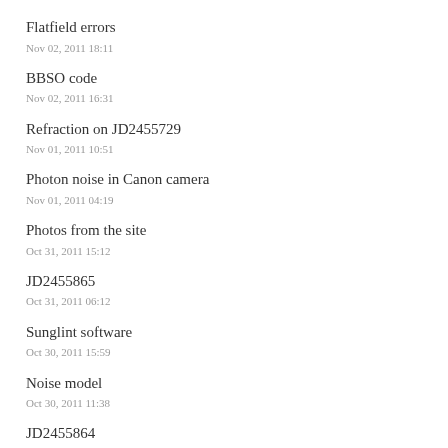Flatfield errors
Nov 02, 2011 18:11
BBSO code
Nov 02, 2011 16:31
Refraction on JD2455729
Nov 01, 2011 10:51
Photon noise in Canon camera
Nov 01, 2011 04:19
Photos from the site
Oct 31, 2011 15:12
JD2455865
Oct 31, 2011 06:12
Sunglint software
Oct 30, 2011 15:59
Noise model
Oct 30, 2011 11:38
JD2455864